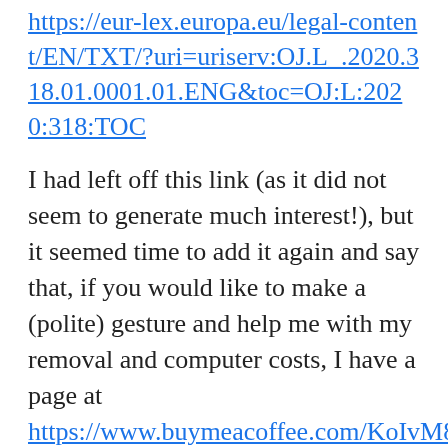https://eur-lex.europa.eu/legal-content/EN/TXT/?uri=uriserv:OJ.L_.2020.318.01.0001.01.ENG&toc=OJ:L:2020:318:TOC
I had left off this link (as it did not seem to generate much interest!), but it seemed time to add it again and say that, if you would like to make a (polite) gesture and help me with my removal and computer costs, I have a page at https://www.buymeacoffee.com/KoIvM842y
raytodd2017 / Leave a comment
OFAC RANSOMWARE ADVISORY – SANCTIONS